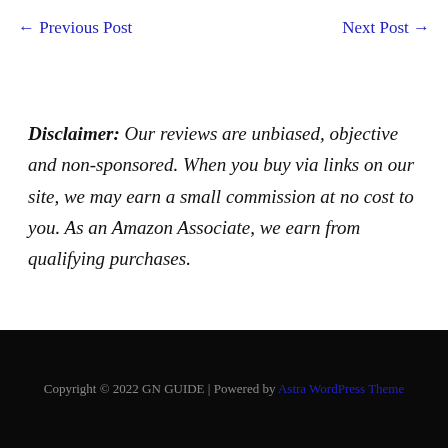← Previous Post    Next Post →
Disclaimer: Our reviews are unbiased, objective and non-sponsored. When you buy via links on our site, we may earn a small commission at no cost to you. As an Amazon Associate, we earn from qualifying purchases.
Copyright © 2022 GN GUIDE | Powered by Astra WordPress Theme